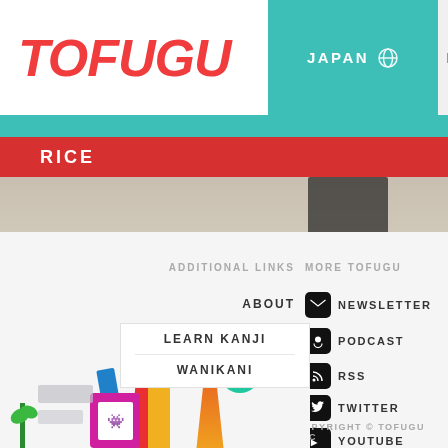TOFUGU | JAPAN | MORE | PODCAST
RICE
[Figure (photo): Partial image showing what appears to be a food-related photo, partially visible below the RICE label]
ADDITIONAL LINKS
MORE TOFUGU
ABOUT
NEWSLETTER
CONTACT
PODCAST
JOBS
RSS
LEARN JAPANESE
TWITTER
NEWS
YOUTUBE
[Figure (illustration): Colorful cartoon illustration of books, characters, and a plant in the bottom-left corner]
LEARN KANJI
WANIKANI
COPYRIGHT © TOFUGU LLC